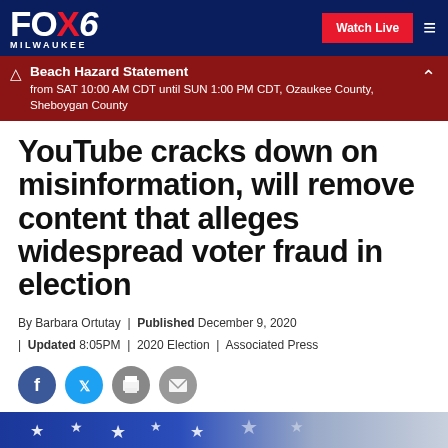FOX6 MILWAUKEE
Beach Hazard Statement from SAT 10:00 AM CDT until SUN 1:00 PM CDT, Ozaukee County, Sheboygan County
YouTube cracks down on misinformation, will remove content that alleges widespread voter fraud in election
By Barbara Ortutay | Published December 9, 2020 | Updated 8:05PM | 2020 Election | Associated Press
[Figure (illustration): Social media share icons: Facebook, Twitter, Print, Email]
[Figure (photo): American flag image at bottom of page]